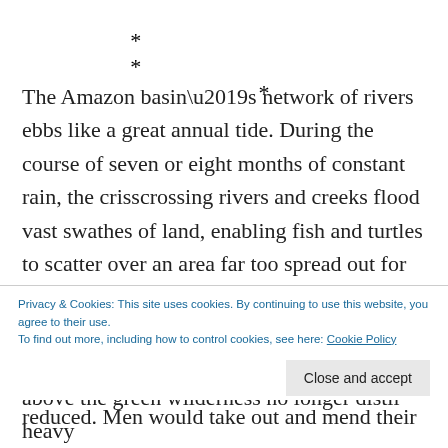* * *
The Amazon basin’s network of rivers ebbs like a great annual tide. During the course of seven or eight months of constant rain, the crisscrossing rivers and creeks flood vast swathes of land, enabling fish and turtles to scatter over an area far too spread out for fishermen to exploit. Towards the end of June, however, a few clear days herald the start of the short dry season, when the clouds above the green wilderness no longer distil heavy
Privacy & Cookies: This site uses cookies. By continuing to use this website, you agree to their use.
To find out more, including how to control cookies, see here: Cookie Policy
Close and accept
reduced. Men would take out and mend their